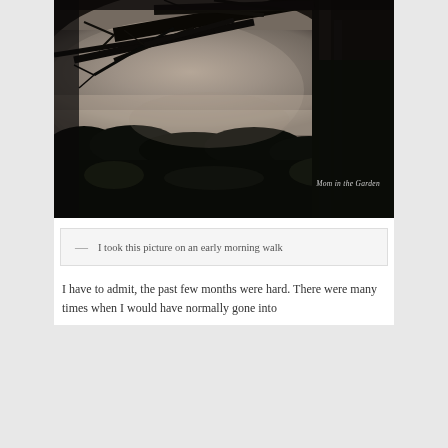[Figure (photo): A dark, moody black-and-white photograph taken on an early morning walk. A large tree silhouette dominates the right side with bare branches spreading across the top. The background shows a misty, foggy landscape with hedgerows and garden vegetation. A watermark reads 'Mom in the Garden' in the lower right.]
— I took this picture on an early morning walk
I have to admit, the past few months were hard. There were many times when I would have normally gone into